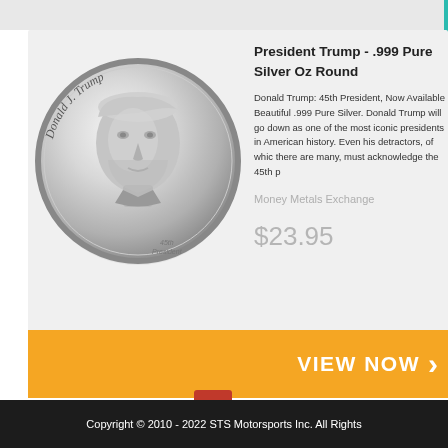[Figure (photo): A silver commemorative coin featuring the profile portrait of Donald J. Trump, labeled 'Donald J. Trump' around the top edge and '45th President' near the bottom right. The coin is highly polished silver.]
President Trump - .999 Pure Silver Oz Round
Donald Trump: 45th President, Now Available Beautiful .999 Pure Silver. Donald Trump will go down as one of the most iconic presidents in American history. Even his detractors, of which there are many, must acknowledge the 45th p
Money Metals Exchange
$23.95
VIEW NOW
Copyright © 2010 - 2022 STS Motorsports Inc. All Rights